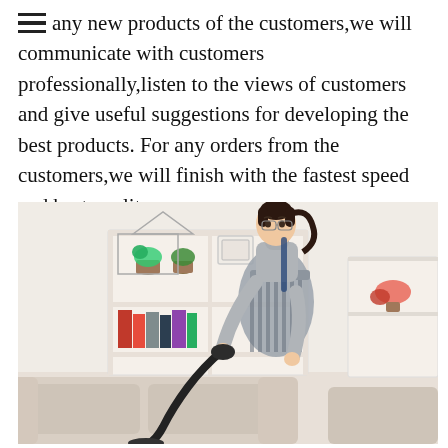any new products of the customers,we will communicate with customers professionally,listen to the views of customers and give useful suggestions for developing the best products. For any orders from the customers,we will finish with the fastest speed and best quality.
[Figure (photo): A woman wearing a striped apron over a grey turtleneck, with her hair in a ponytail, vacuuming a beige sofa in a bright living room. Behind her is a white shelf unit with books, small plants, and decorative items.]